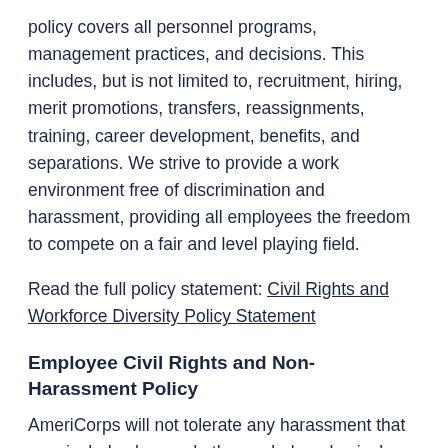policy covers all personnel programs, management practices, and decisions. This includes, but is not limited to, recruitment, hiring, merit promotions, transfers, reassignments, training, career development, benefits, and separations. We strive to provide a work environment free of discrimination and harassment, providing all employees the freedom to compete on a fair and level playing field.
Read the full policy statement: Civil Rights and Workforce Diversity Policy Statement
Employee Civil Rights and Non-Harassment Policy
AmeriCorps will not tolerate any harassment that may include slurs and other verbal or physical conduct that relates to an individual's gender, race, ethnicity, religion, sexual orientation, or any